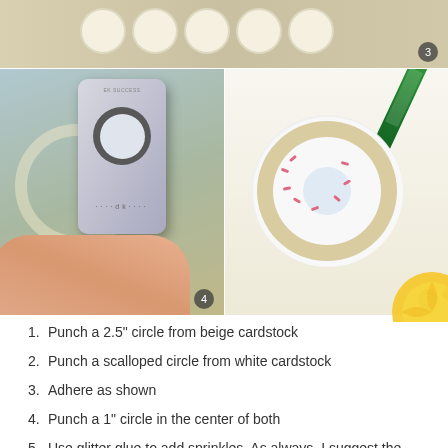[Figure (photo): Top strip photo showing scalloped circle shapes on beige background with step number 3 badge]
[Figure (photo): Left photo: hand holding a gray EK circle punch tool over a scalloped circle shape, step number 4 badge]
[Figure (photo): Right photo: scalloped white circle on beige background with green and pink glitter glue pens, step number 5 badge]
1. Punch a 2.5" circle from beige cardstock
2. Punch a scalloped circle from white cardstock
3. Adhere as shown
4. Punch a 1" circle in the center of both
5. Use glitter glue to add sprinkles. As always, I suggest the Martha Stewart Iridescent Glitter Glues